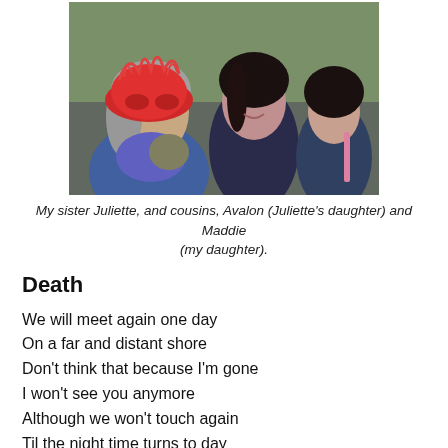[Figure (photo): Photo of three women at an outdoor event. The woman on the left is older with gray hair and wears a decorative red masquerade mask. Two younger women stand behind her, smiling.]
My sister Juliette, and cousins, Avalon (Juliette's daughter) and Maddie (my daughter).
Death
We will meet again one day
On a far and distant shore
Don't think that because I'm gone
I won't see you anymore
Although we won't touch again
Til the night time turns to day
The love we held within us
Will never go away.
Hold on to thoughts of me